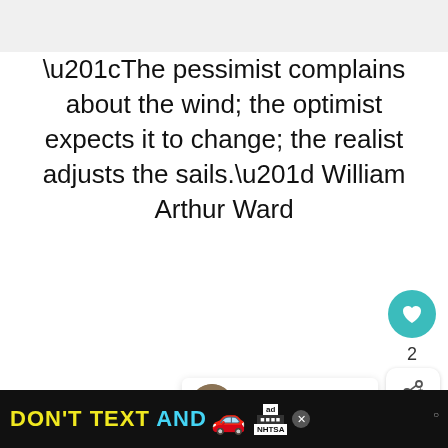“The pessimist complains about the wind; the optimist expects it to change; the realist adjusts the sails.” William Arthur Ward
2
WHAT’S NEXT → Inspirational Quotes &…
“I’d rather be optimistic and wro… pessimistic and right.” Elon Musk
[Figure (screenshot): Advertisement banner at the bottom: DON’T TEXT AND [car emoji] with NHTSA logo and ad badge]